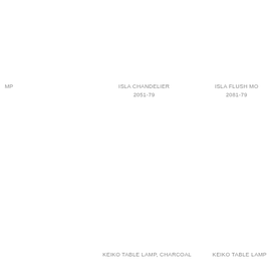MP
ISLA CHANDELIER
2051-79
ISLA FLUSH MO
2081-79
KEIKO TABLE LAMP, CHARCOAL
KEIKO TABLE LAMP